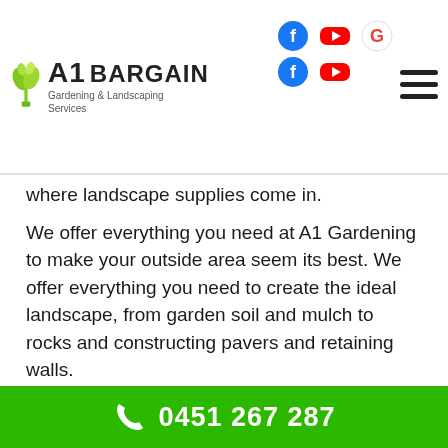A1 BARGAIN Gardening & Landscaping Services
where landscape supplies come in.
We offer everything you need at A1 Gardening to make your outside area seem its best. We offer everything you need to create the ideal landscape, from garden soil and mulch to rocks and constructing pavers and retaining walls.
So whether you’re looking for a few finishing touches or starting from scratch, we have the landscape supplies and popular landscape products you need to get the job done. We provide the finest gardening supplies around Forestville.
0451 267 287